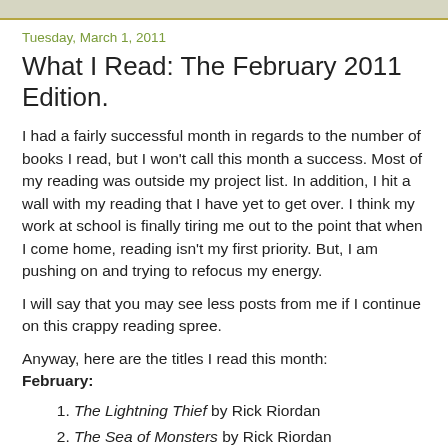Tuesday, March 1, 2011
What I Read: The February 2011 Edition.
I had a fairly successful month in regards to the number of books I read, but I won't call this month a success. Most of my reading was outside my project list. In addition, I hit a wall with my reading that I have yet to get over. I think my work at school is finally tiring me out to the point that when I come home, reading isn't my first priority. But, I am pushing on and trying to refocus my energy.
I will say that you may see less posts from me if I continue on this crappy reading spree.
Anyway, here are the titles I read this month:
February:
The Lightning Thief by Rick Riordan
The Sea of Monsters by Rick Riordan
The Titan's Curse by Rick Riordan